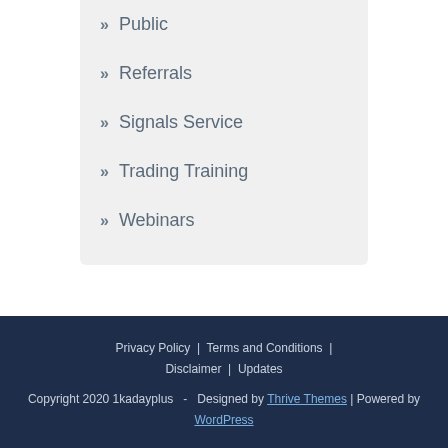» Public
» Referrals
» Signals Service
» Trading Training
» Webinars
Privacy Policy | Terms and Conditions | Disclaimer | Updates
Copyright 2020 1kadayplus - Designed by Thrive Themes | Powered by WordPress